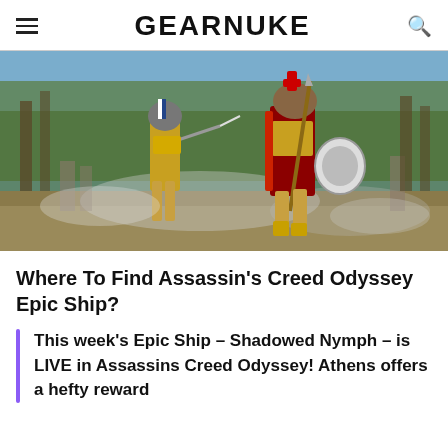GEARNUKE
[Figure (photo): Two ancient Greek warriors in armor fighting with spears and shields on a battlefield with smoke and trees in the background, from Assassin's Creed Odyssey video game]
Where To Find Assassin's Creed Odyssey Epic Ship?
This week's Epic Ship – Shadowed Nymph – is LIVE in Assassins Creed Odyssey! Athens offers a hefty reward